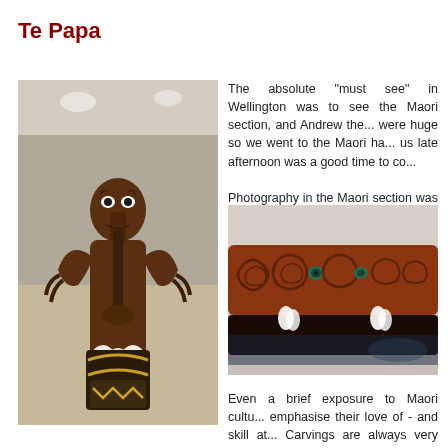Te Papa
[Figure (photo): Maori carved figure/statue with decorated body, prominent eyes, and white feathers at the bottom, displayed in a museum setting]
The absolute "must see" in Wellington was to see the Maori section, and Andrew the... were huge so we went to the Maori ha... us late afternoon was a good time to co...
Photography in the Maori section was n...
[Figure (photo): Close-up of Maori carved wooden canoe or artifact showing intricate spiral carvings with paua shell eyes, with white feathers attached and dark hull visible below]
Even a brief exposure to Maori cultu... emphasise their love of - and skill at... Carvings are always very emphatic...